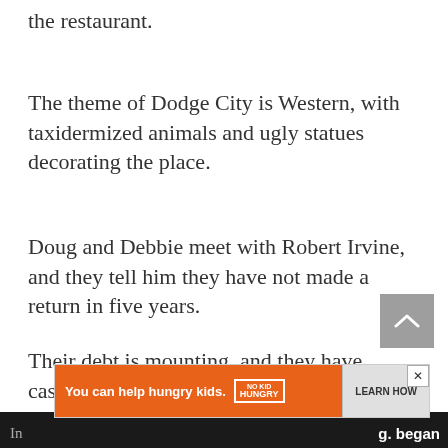the restaurant.
The theme of Dodge City is Western, with taxidermized animals and ugly statues decorating the place.
Doug and Debbie meet with Robert Irvine, and they tell him they have not made a return in five years.
Their debt is mounting, and they have cashed in retirement funds, maxing out credit cards and depleting their savings.
[Figure (other): Advertisement banner: orange background with text 'You can help hungry kids.' and No Kid Hungry logo with 'LEARN HOW' button]
In ...g, began